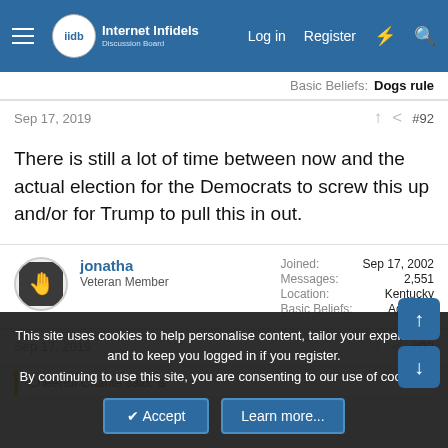Internet Infidels — Log in | Register
Basic Beliefs: Dogs rule
Sep 17, 2019  #92
There is still a lot of time between now and the actual election for the Democrats to screw this up and/or for Trump to pull this in out.
jonatha — Veteran Member | Joined: Sep 17, 2002 | Messages: 2,551 | Location: Kentucky | Basic Beliefs: Agnostic
Sep 17, 2019  #93
Cheerful Charlie said:
This site uses cookies to help personalise content, tailor your experience and to keep you logged in if you register.
By continuing to use this site, you are consenting to our use of cookies.